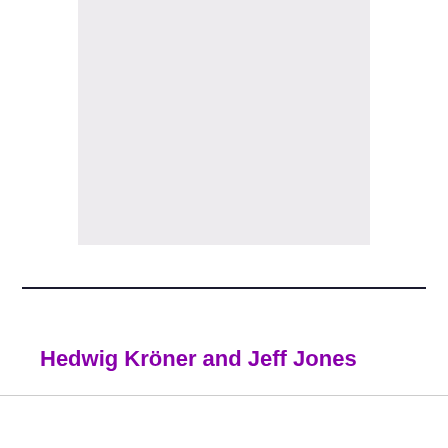[Figure (other): Gray placeholder image area at top of page]
Hedwig Kröner and Jeff Jones